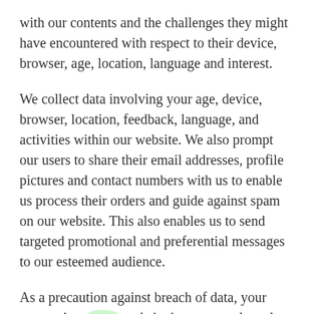with our contents and the challenges they might have encountered with respect to their device, browser, age, location, language and interest.
We collect data involving your age, device, browser, location, feedback, language, and activities within our website. We also prompt our users to share their email addresses, profile pictures and contact numbers with us to enable us process their orders and guide against spam on our website. This also enables us to send targeted promotional and preferential messages to our esteemed audience.
As a precaution against breach of data, your connection to our website is secure and we do not serve advertisements for direct clients or third-party organisations that do not conform to our privacy policy. However, this privacy policy applies to your information that we collect and receive; it does not apply to practices and operations of organisations that we do not